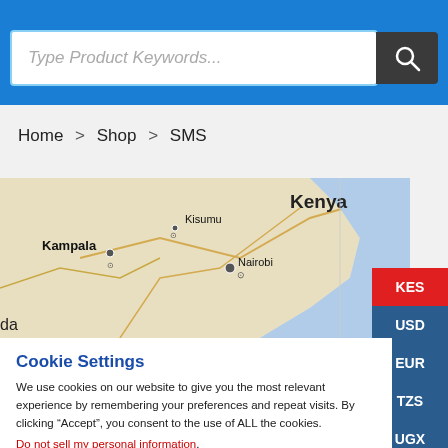Type Product Keywords...
Home > Shop > SMS
[Figure (map): Map showing East Africa region with labels: Kenya, Kampala, Kisumu, Nairobi, da (partial)]
Cookie Settings
We use cookies on our website to give you the most relevant experience by remembering your preferences and repeat visits. By clicking “Accept”, you consent to the use of ALL the cookies.
Do not sell my personal information.
Cookie settings  I Understand